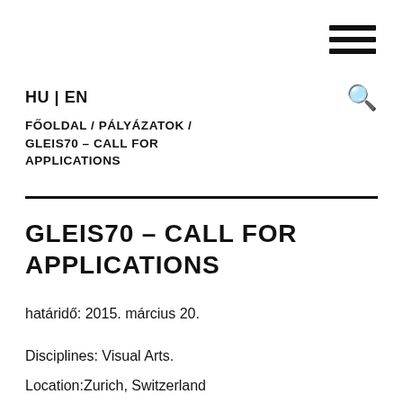[Figure (other): Hamburger/menu icon — three horizontal black bars in top-right corner]
HU | EN
FŐOLDAL / PÁLYÁZATOK / GLEIS70 – CALL FOR APPLICATIONS
GLEIS70 – CALL FOR APPLICATIONS
határidő: 2015. március 20.
Disciplines: Visual Arts.
Location:Zurich, Switzerland